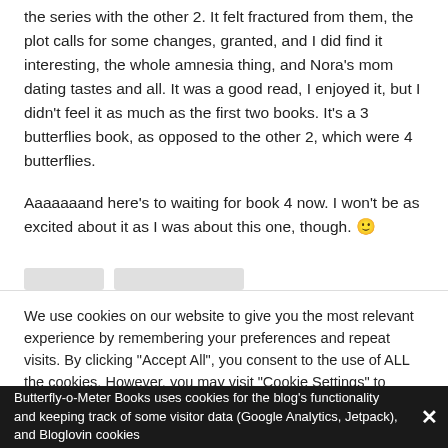the series with the other 2. It felt fractured from them, the plot calls for some changes, granted, and I did find it interesting, the whole amnesia thing, and Nora’s mom dating tastes and all. It was a good read, I enjoyed it, but I didn’t feel it as much as the first two books. It’s a 3 butterflies book, as opposed to the other 2, which were 4 butterflies.
Aaaaaaand here’s to waiting for book 4 now. I won’t be as excited about it as I was about this one, though. 🙂
We use cookies on our website to give you the most relevant experience by remembering your preferences and repeat visits. By clicking “Accept All”, you consent to the use of ALL the cookies. However, you may visit "Cookie Settings" to provide a controlled consent.
Butterfly-o-Meter Books uses cookies for the blog’s functionality and keeping track of some visitor data (Google Analytics, Jetpack), and Bloglovin cookies